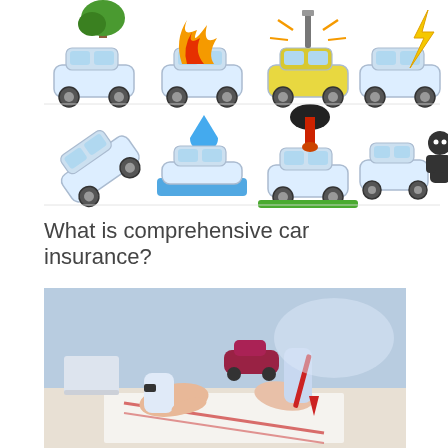[Figure (illustration): Two rows of car insurance risk scenario icons: top row shows a car with a tree falling on it, a car on fire, a car being hit by a bolt/nail, and a car struck by lightning. Bottom row shows a car flipping/rolling over, a car in flood water with a water drop, a car struck by a fireball/explosion, and a car next to a masked thief.]
What is comprehensive car insurance?
[Figure (photo): Photo of two people at a desk: one person pointing at a document while the other writes/signs with a red pen. A red toy car is visible in the background on the desk. The scene depicts signing an insurance policy or contract.]